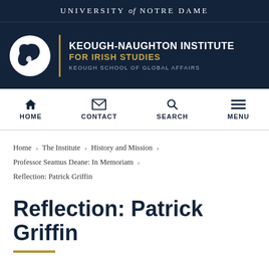UNIVERSITY of NOTRE DAME
[Figure (logo): Keough-Naughton Institute for Irish Studies logo with shamrock emblem, gold divider, institute name and Keough School of Global Affairs text on dark navy background]
HOME  CONTACT  SEARCH  MENU
Home › The Institute › History and Mission › Professor Seamus Deane: In Memoriam › Reflection: Patrick Griffin
Reflection: Patrick Griffin